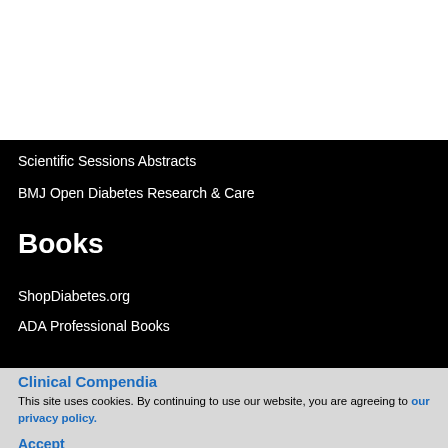Scientific Sessions Abstracts
BMJ Open Diabetes Research & Care
Books
ShopDiabetes.org
ADA Professional Books
Clinical Compendia
This site uses cookies. By continuing to use our website, you are agreeing to our privacy policy.
Accept
News